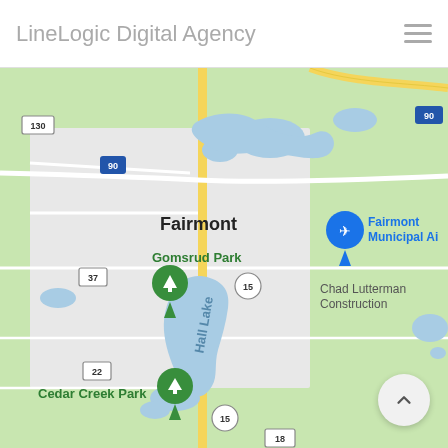LineLogic Digital Agency
[Figure (map): Google Maps screenshot showing Fairmont, Minnesota area with Hall Lake, Gomsrud Park, Cedar Creek Park, Fairmont Municipal Airport, Chad Lutterman Construction, and highways including I-90, routes 15, 18, 22, 37, and 130.]